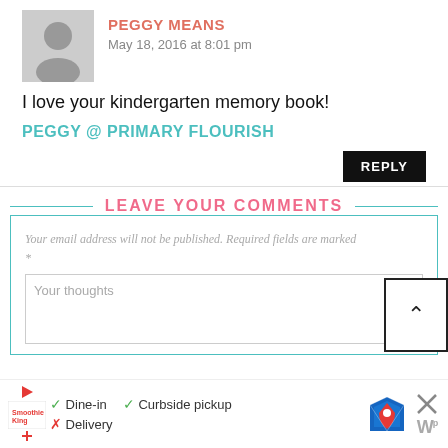PEGGY MEANS
May 18, 2016 at 8:01 pm
I love your kindergarten memory book!
PEGGY @ PRIMARY FLOURISH
REPLY
LEAVE YOUR COMMENTS
Your email address will not be published. Required fields are marked *
Your thoughts